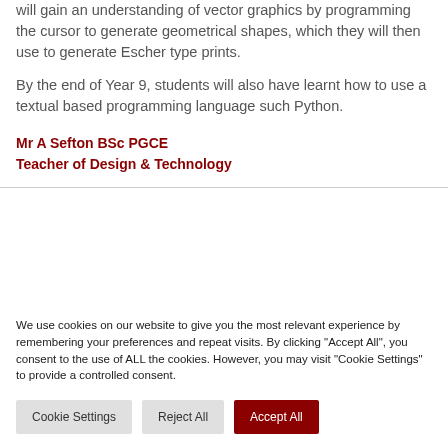will gain an understanding of vector graphics by programming the cursor to generate geometrical shapes, which they will then use to generate Escher type prints.
By the end of Year 9, students will also have learnt how to use a textual based programming language such Python.
Mr A Sefton BSc PGCE
Teacher of Design & Technology
We use cookies on our website to give you the most relevant experience by remembering your preferences and repeat visits. By clicking "Accept All", you consent to the use of ALL the cookies. However, you may visit "Cookie Settings" to provide a controlled consent.